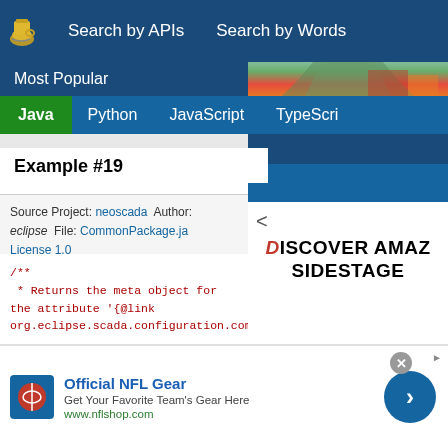Search by APIs   Search by Words
Most Popular
Java   Python   JavaScript   TypeScript
[Figure (photo): Mountain landscape photo with autumn foliage, clouds, and city below. Advertisement showing DISCOVER AMAZING SIDESTAGE text.]
Example #19
Source Project: neoscada   Author: eclipse   File: CommonPackage.java   License 1.0
/**
 * Returns the meta object for the attribute '{@link
org.eclipse.scada.configuration.component.common.Hea